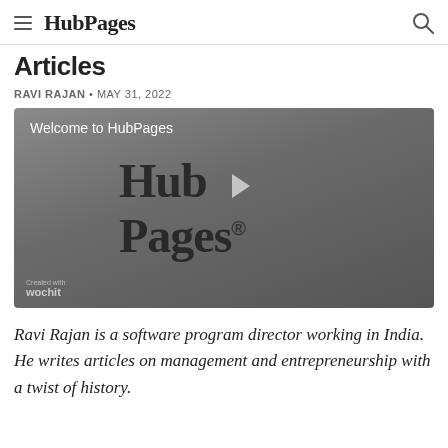HubPages
Articles
RAVI RAJAN • MAY 31, 2022
[Figure (screenshot): HubPages welcome video thumbnail with HubPages logo and play button, created with wochit]
Ravi Rajan is a software program director working in India. He writes articles on management and entrepreneurship with a twist of history.